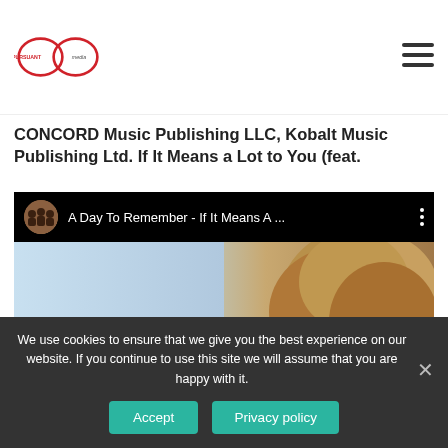Pursuant Media
CONCORD Music Publishing LLC, Kobalt Music Publishing Ltd. If It Means a Lot to You (feat.
[Figure (screenshot): YouTube video embed showing 'A Day To Remember - If It Means A ...' with a thumbnail of a person with light brown hair on a light blue background with a red play button]
We use cookies to ensure that we give you the best experience on our website. If you continue to use this site we will assume that you are happy with it.